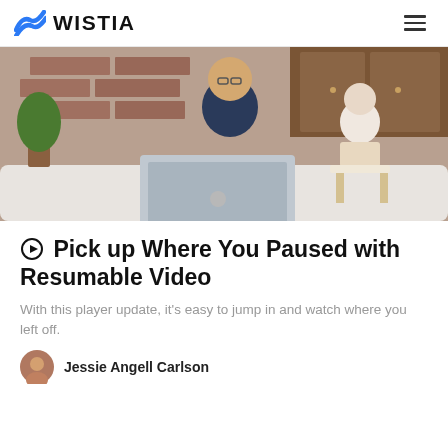WISTIA
[Figure (photo): A man with glasses wearing a dark blue sweater works on a MacBook laptop at a white table. A baby in a high chair sits nearby eating snacks in a kitchen with brick walls and wooden cabinets.]
⊙ Pick up Where You Paused with Resumable Video
With this player update, it's easy to jump in and watch where you left off.
Jessie Angell Carlson